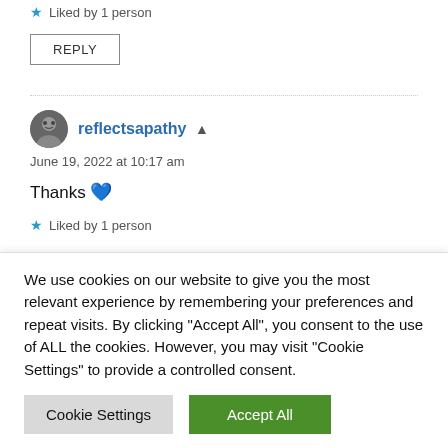★ Liked by 1 person
REPLY
reflectsapathy
June 19, 2022 at 10:17 am
Thanks 💙
★ Liked by 1 person
We use cookies on our website to give you the most relevant experience by remembering your preferences and repeat visits. By clicking "Accept All", you consent to the use of ALL the cookies. However, you may visit "Cookie Settings" to provide a controlled consent.
Cookie Settings
Accept All